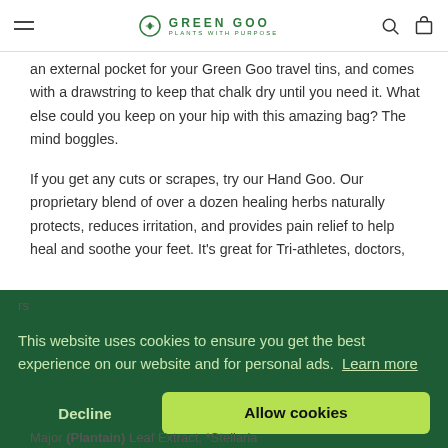GREEN GOO — PLANTS WITH PURPOSE
an external pocket for your Green Goo travel tins, and comes with a drawstring to keep that chalk dry until you need it. What else could you keep on your hip with this amazing bag? The mind boggles.
If you get any cuts or scrapes, try our Hand Goo. Our proprietary blend of over a dozen healing herbs naturally protects, reduces irritation, and provides pain relief to help heal and soothe your feet. It's great for Tri-athletes, doctors,
This website uses cookies to ensure you get the best experience on our website and for personal ads.  Learn more
Major (Plantain) Leaf Extract, *Stellaria